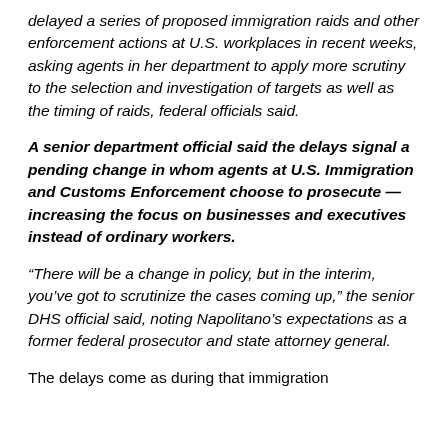delayed a series of proposed immigration raids and other enforcement actions at U.S. workplaces in recent weeks, asking agents in her department to apply more scrutiny to the selection and investigation of targets as well as the timing of raids, federal officials said.
A senior department official said the delays signal a pending change in whom agents at U.S. Immigration and Customs Enforcement choose to prosecute — increasing the focus on businesses and executives instead of ordinary workers.
“There will be a change in policy, but in the interim, you’ve got to scrutinize the cases coming up,” the senior DHS official said, noting Napolitano’s expectations as a former federal prosecutor and state attorney general.
The delays come as during that immigration...